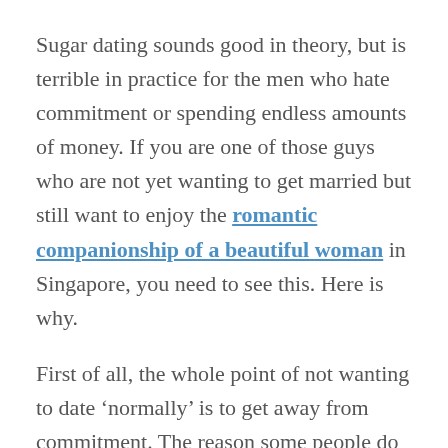Sugar dating sounds good in theory, but is terrible in practice for the men who hate commitment or spending endless amounts of money. If you are one of those guys who are not yet wanting to get married but still want to enjoy the romantic companionship of a beautiful woman in Singapore, you need to see this. Here is why.
First of all, the whole point of not wanting to date ‘normally’ is to get away from commitment. The reason some people do not want to date regularly (unless they are serious about wanting to get married and have kids already) is because they do not want commitment. Dating a ‘normal’ girlfriend has lots of time commitment and indirect spending